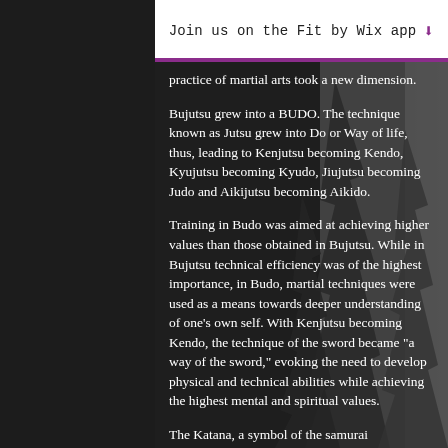Join us on the Fit by Wix app ⬇
practice of martial arts took a new dimension.
Bujutsu grew into a BUDO. The technique known as Jutsu grew into Do or Way of life, thus, leading to Kenjutsu becoming Kendo, Kyujutsu becoming Kyudo, Jiujutsu becoming Judo and Aikijutsu becoming Aikido.
Training in Budo was aimed at achieving higher values than those obtained in Bujutsu. While in Bujutsu technical efficiency was of the highest importance, in Budo, martial techniques were used as a means towards deeper understanding of one's own self. With Kenjutsu becoming Kendo, the technique of the sword became "a way of the sword," evoking the need to develop physical and technical abilities while achieving the highest mental and spiritual values.
The Katana, a symbol of the samurai